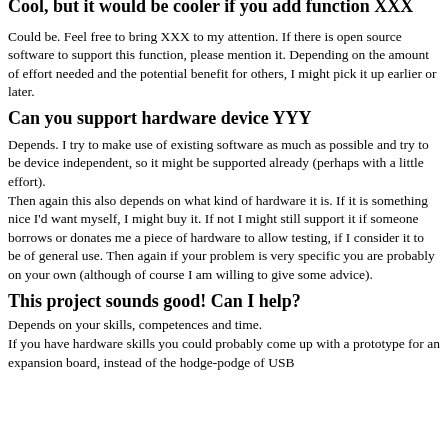Cool, but it would be cooler if you add function XXX
Could be. Feel free to bring XXX to my attention. If there is open source software to support this function, please mention it. Depending on the amount of effort needed and the potential benefit for others, I might pick it up earlier or later.
Can you support hardware device YYY
Depends. I try to make use of existing software as much as possible and try to be device independent, so it might be supported already (perhaps with a little effort).
Then again this also depends on what kind of hardware it is. If it is something nice I'd want myself, I might buy it. If not I might still support it if someone borrows or donates me a piece of hardware to allow testing, if I consider it to be of general use. Then again if your problem is very specific you are probably on your own (although of course I am willing to give some advice).
This project sounds good! Can I help?
Depends on your skills, competences and time.
If you have hardware skills you could probably come up with a prototype for an expansion board, instead of the hodge-podge of USB